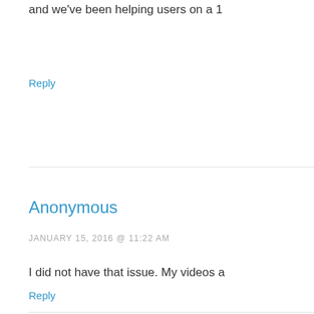and we've been helping users on a 1
Reply
Anonymous
JANUARY 15, 2016 @ 11:22 AM
I did not have that issue. My videos a
Reply